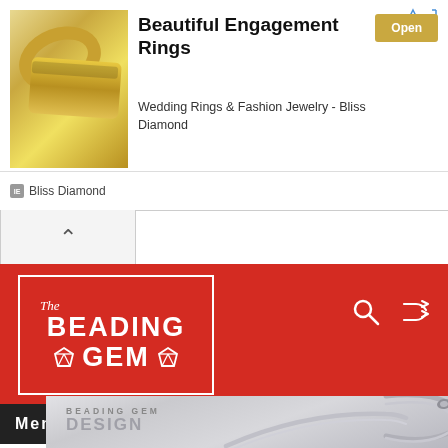[Figure (screenshot): Advertisement banner for Bliss Diamond – Beautiful Engagement Rings. Shows two gold rings on left, title 'Beautiful Engagement Rings', subtitle 'Wedding Rings & Fashion Jewelry - Bliss Diamond', an Open button, and Bliss Diamond brand name.]
[Figure (screenshot): Website header for The Beading Gem blog showing red background with logo, search icon, shuffle icon, and Menu bar below.]
[Figure (photo): Partial view of a silver wire ring/bangle with a small bead detail, photographed on a light grey background. Overlaid with 'BEADING GEM DESIGN' text.]